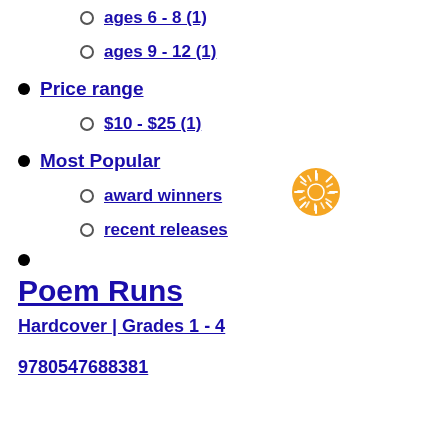ages 6 - 8 (1)
ages 9 - 12 (1)
Price range
$10 - $25 (1)
Most Popular
award winners
recent releases
Poem Runs
Hardcover | Grades 1 - 4
9780547688381